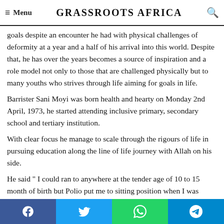Menu   GRASSROOTS AFRICA   🔍
goals despite an encounter he had with physical challenges of deformity at a year and a half of his arrival into this world. Despite that, he has over the years becomes a source of inspiration and a role model not only to those that are challenged physically but to many youths who strives through life aiming for goals in life.
Barrister Sani Moyi was born health and hearty on Monday 2nd April, 1973, he started attending inclusive primary, secondary school and tertiary institution.
With clear focus he manage to scale through the rigours of life in pursuing education along the line of life journey with Allah on his side.
He said " I could ran to anywhere at the tender age of 10 to 15 month of birth but Polio put me to sitting position when I was
Facebook  Twitter  WhatsApp  Telegram